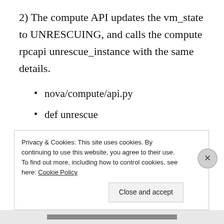2) The compute API updates the vm_state to UNRESCUING, and calls the compute rpcapi unrescue_instance with the same details.
nova/compute/api.py
def unrescue
3) The RPC API casts an unrescue_instance message to the compute node's message queue.
Privacy & Cookies: This site uses cookies. By continuing to use this website, you agree to their use.
To find out more, including how to control cookies, see here: Cookie Policy
Close and accept